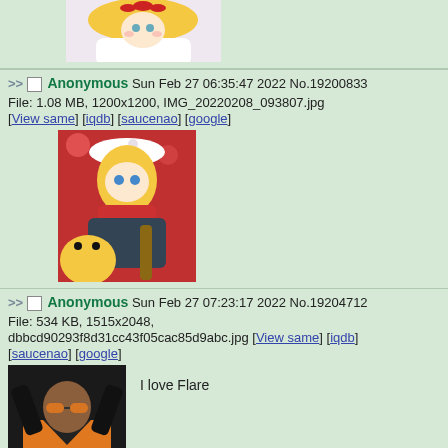[Figure (illustration): Partial anime illustration of a blonde character in white dress with red bow, cropped at top]
>> Anonymous Sun Feb 27 06:35:47 2022 No.19200833
File: 1.08 MB, 1200x1200, IMG_20220208_093807.jpg
[View same] [iqdb] [saucenao] [google]
[Figure (illustration): Anime illustration of a blonde girl in winter clothing with a yellow creature]
>> Anonymous Sun Feb 27 07:23:17 2022 No.19204712
File: 534 KB, 1515x2048, dbbcd90293f8d31cc43f05cac85d9abc.jpg [View same] [iqdb] [saucenao] [google]
[Figure (illustration): Anime illustration of a dark-skinned girl in orange jacket and dark swimsuit]
I love Flare